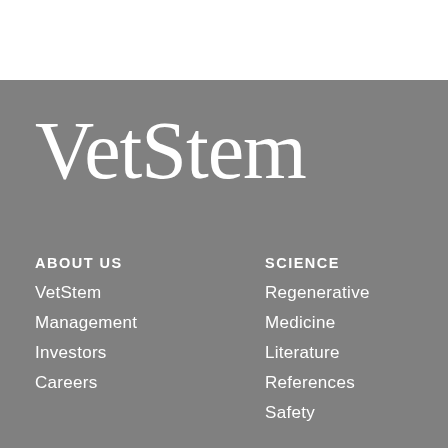[Figure (logo): VetStem company logo in large white serif text on gray background]
ABOUT US
VetStem
Management
Investors
Careers
SCIENCE
Regenerative
Medicine
Literature
References
Safety